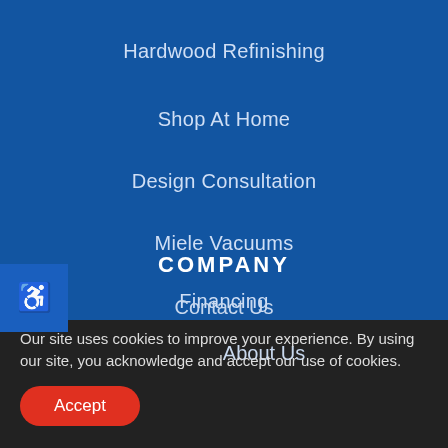Hardwood Refinishing
Shop At Home
Design Consultation
Miele Vacuums
Financing
Contact Us
COMPANY
About Us
Our site uses cookies to improve your experience. By using our site, you acknowledge and accept our use of cookies.
Accept